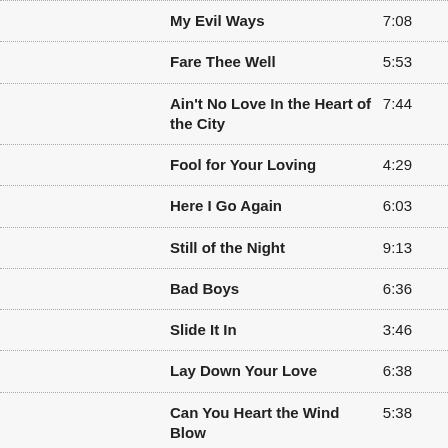My Evil Ways 7:08
Fare Thee Well 5:53
Ain't No Love In the Heart of the City 7:44
Fool for Your Loving 4:29
Here I Go Again 6:03
Still of the Night 9:13
Bad Boys 6:36
Slide It In 3:46
Lay Down Your Love 6:38
Can You Heart the Wind Blow 5:38